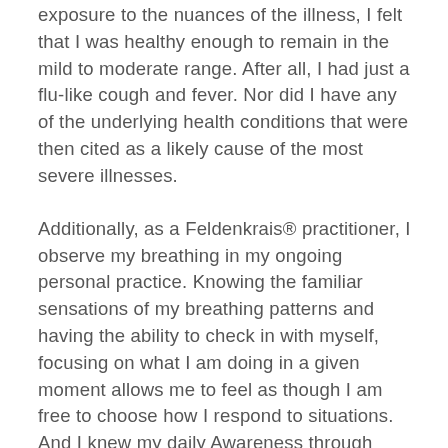exposure to the nuances of the illness, I felt that I was healthy enough to remain in the mild to moderate range. After all, I had just a flu-like cough and fever. Nor did I have any of the underlying health conditions that were then cited as a likely cause of the most severe illnesses.
Additionally, as a Feldenkrais® practitioner, I observe my breathing in my ongoing personal practice. Knowing the familiar sensations of my breathing patterns and having the ability to check in with myself, focusing on what I am doing in a given moment allows me to feel as though I am free to choose how I respond to situations. And I knew my daily Awareness through Movement® would help me be aware of any alarming changes in my breathing patterns. My thinking was that my trained